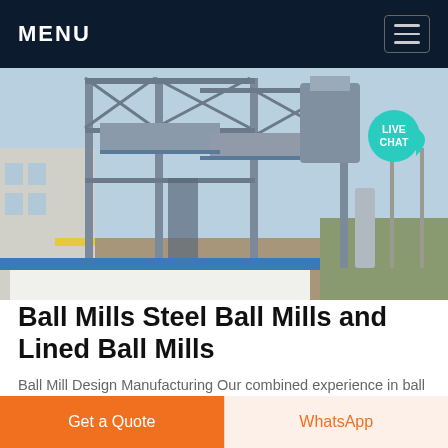MENU
[Figure (photo): Industrial facility with large steel framework structures, conveyor systems, and metal scaffolding against a clear sky. A white building is visible on the left.]
Ball Mills Steel Ball Mills and Lined Ball Mills
Ball Mill Design Manufacturing Our combined experience in ball mill design and process equipment development totals more than 60 years and allows us to put a unique
Get a Quote
WhatsApp